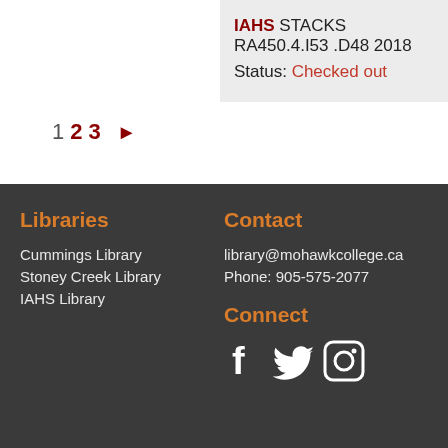IAHS STACKS RA450.4.I53 .D48 2018
Status: Checked out
1 2 3 ►
Libraries
Cummings Library
Stoney Creek Library
IAHS Library
Contact
library@mohawkcollege.ca
Phone: 905-575-2077
Connect
[Figure (illustration): Social media icons: Facebook, Twitter, Instagram]